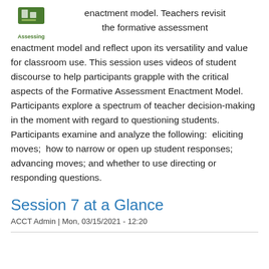[Figure (logo): Green icon labeled 'Assessing' with a small graphic above the text]
enactment model. Teachers revisit the formative assessment enactment model and reflect upon its versatility and value for classroom use. This session uses videos of student discourse to help participants grapple with the critical aspects of the Formative Assessment Enactment Model. Participants explore a spectrum of teacher decision-making in the moment with regard to questioning students. Participants examine and analyze the following:  eliciting moves;  how to narrow or open up student responses;  advancing moves; and whether to use directing or responding questions.
Session 7 at a Glance
ACCT Admin | Mon, 03/15/2021 - 12:20